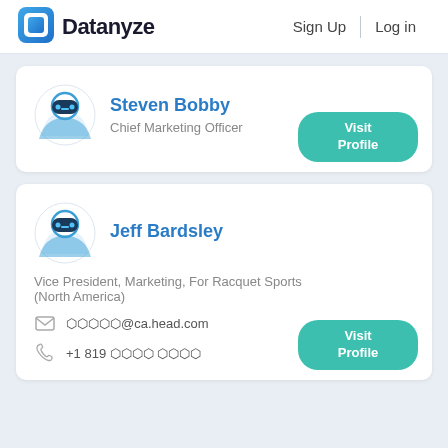Datanyze  Sign Up  Log in
[Figure (logo): Datanyze logo with blue square icon and bold text]
Steven Bobby
Chief Marketing Officer
Visit Profile
Jeff Bardsley
Vice President, Marketing, For Racquet Sports (North America)
✉ ●●●●●@ca.head.com
📞 +1 819 ●●●● ●●●●
Visit Profile